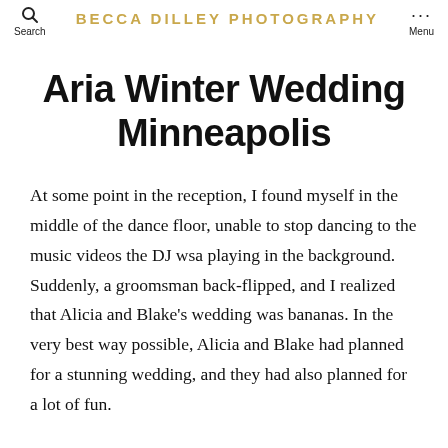Search  BECCA DILLEY PHOTOGRAPHY  Menu
Aria Winter Wedding Minneapolis
At some point in the reception, I found myself in the middle of the dance floor, unable to stop dancing to the music videos the DJ wsa playing in the background. Suddenly, a groomsman back-flipped, and I realized that Alicia and Blake’s wedding was bananas. In the very best way possible, Alicia and Blake had planned for a stunning wedding, and they had also planned for a lot of fun.